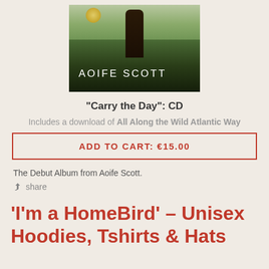[Figure (photo): Album cover photo for Aoife Scott's 'Carry the Day' showing a figure in a field with sunlight, with the text 'AOIFE SCOTT' overlaid in white letters]
"Carry the Day": CD
Includes a download of All Along the Wild Atlantic Way
ADD TO CART: €15.00
The Debut Album from Aoife Scott.
share
'I'm a HomeBird' - Unisex Hoodies, Tshirts & Hats